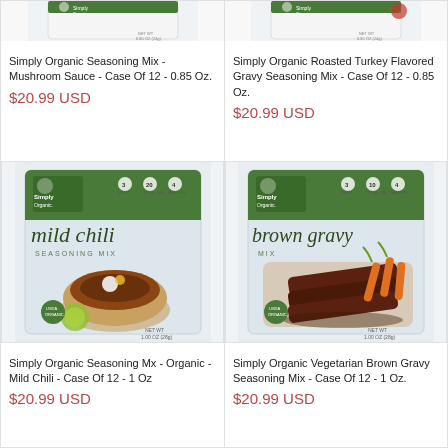[Figure (photo): Simply Organic Mushroom Sauce Seasoning Mix packet, partial top view showing NET WT 0.85 OZ]
Simply Organic Seasoning Mix - Mushroom Sauce - Case Of 12 - 0.85 Oz.
$20.99 USD
[Figure (photo): Simply Organic Roasted Turkey Flavored Gravy Seasoning Mix packet, partial top view showing NET WT 0.85 OZ]
Simply Organic Roasted Turkey Flavored Gravy Seasoning Mix - Case Of 12 - 0.85 Oz.
$20.99 USD
[Figure (photo): Simply Organic mild chili seasoning mix packet showing bowl of chili with lime, green label, 1.00 OZ]
Simply Organic Seasoning Mx - Organic - Mild Chili - Case Of 12 - 1 Oz
$20.99 USD
[Figure (photo): Simply Organic brown gravy mix packet showing sliced beef with carrots, green label, 1.00 OZ]
Simply Organic Vegetarian Brown Gravy Seasoning Mix - Case Of 12 - 1 Oz.
$20.99 USD